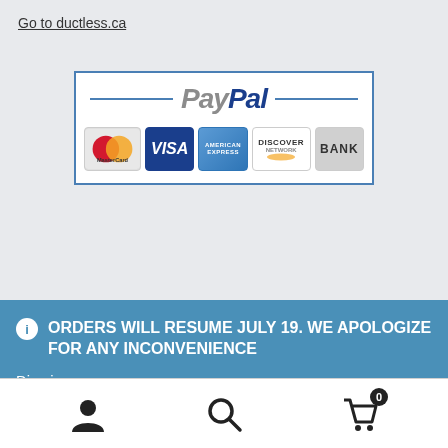Go to ductless.ca
[Figure (logo): PayPal payment logo with MasterCard, VISA, American Express, Discover, and BANK payment method icons]
ORDERS WILL RESUME JULY 19. WE APOLOGIZE FOR ANY INCONVENIENCE
Dismiss
[Figure (other): Bottom navigation bar with user account icon, search icon, and shopping cart icon with badge showing 0]